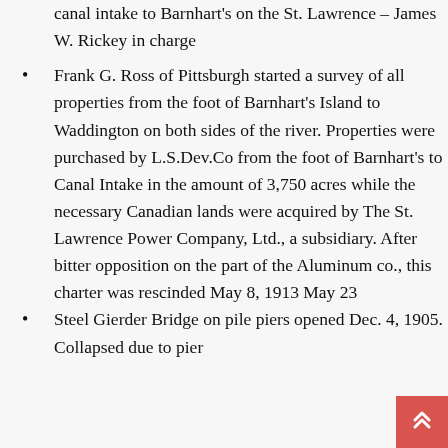canal intake to Barnhart's on the St. Lawrence – James W. Rickey in charge
Frank G. Ross of Pittsburgh started a survey of all properties from the foot of Barnhart's Island to Waddington on both sides of the river. Properties were purchased by L.S.Dev.Co from the foot of Barnhart's to Canal Intake in the amount of 3,750 acres while the necessary Canadian lands were acquired by The St. Lawrence Power Company, Ltd., a subsidiary. After bitter opposition on the part of the Aluminum co., this charter was rescinded May 8, 1913 May 23
Steel Gierder Bridge on pile piers opened Dec. 4, 1905. Collapsed due to pier